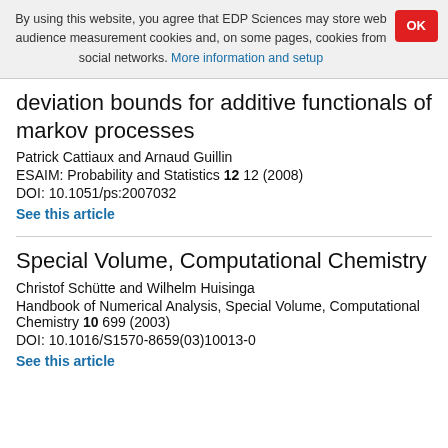By using this website, you agree that EDP Sciences may store web audience measurement cookies and, on some pages, cookies from social networks. More information and setup
deviation bounds for additive functionals of markov processes
Patrick Cattiaux and Arnaud Guillin
ESAIM: Probability and Statistics 12 12 (2008)
DOI: 10.1051/ps:2007032
See this article
Special Volume, Computational Chemistry
Christof Schütte and Wilhelm Huisinga
Handbook of Numerical Analysis, Special Volume, Computational Chemistry 10 699 (2003)
DOI: 10.1016/S1570-8659(03)10013-0
See this article